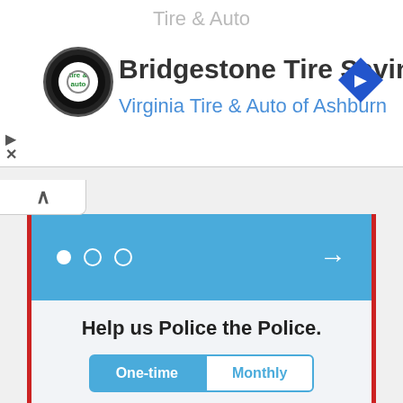[Figure (screenshot): Ad banner for Virginia Tire & Auto of Ashburn — Bridgestone Tire Savings]
Please make a donation below.
[Figure (screenshot): Blue carousel strip with three pagination dots and a right arrow]
Help us Police the Police.
[Figure (screenshot): Toggle tabs: One-time (active/blue) and Monthly (inactive/white)]
[Figure (screenshot): Three donation amount boxes: $10, $50, $100]